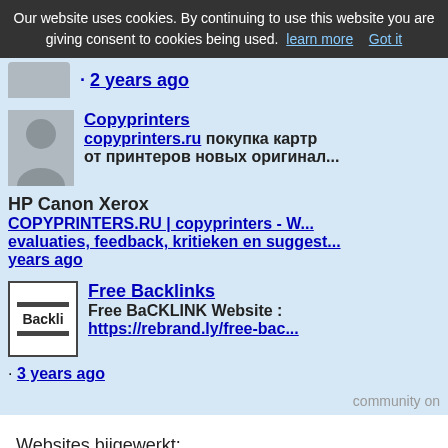Our website uses cookies. By continuing to use this website you are giving consent to cookies being used. learn more   Got it
· 2 years ago
Copyprinters copyprinters.ru покупка картр... от принтеров новых оригинал... HP Canon Xerox COPYPRINTERS.RU | copyprinters - W... evaluaties, feedback, kritieken en suggest... years ago
Free Backlinks Free BaCKLINK Website : https://rebrand.ly/free-bac... · 3 years ago
community on
Websites bijgewerkt:
ttshirts.com -